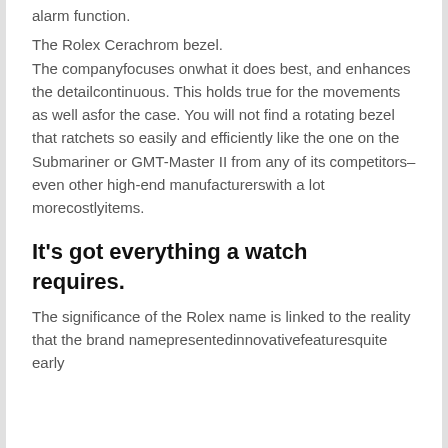alarm function.
The Rolex Cerachrom bezel.
The companyfocuses onwhat it does best, and enhances the detailcontinuous. This holds true for the movements as well asfor the case. You will not find a rotating bezel that ratchets so easily and efficiently like the one on the Submariner or GMT-Master II from any of its competitors– even other high-end manufacturerswith a lot morecostlyitems.
It's got everything a watch requires.
The significance of the Rolex name is linked to the reality that the brand namepresentedinnovativefeaturesquite early